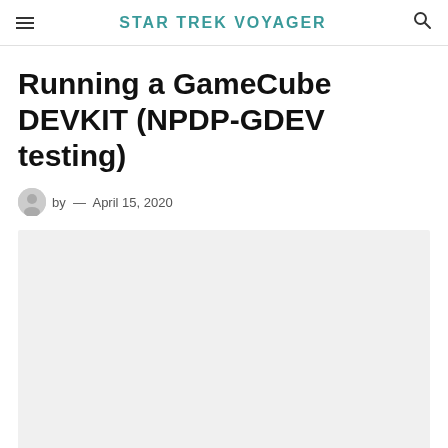STAR TREK VOYAGER
Running a GameCube DEVKIT (NPDP-GDEV testing)
by — April 15, 2020
[Figure (photo): Light gray image placeholder for article featured image]